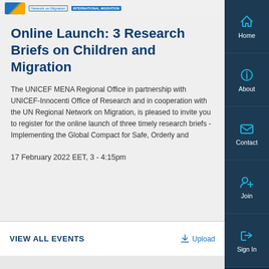[Figure (logo): UNICEF and Network on Migration logos in top header bar]
Online Launch: 3 Research Briefs on Children and Migration
The UNICEF MENA Regional Office in partnership with UNICEF-Innocenti Office of Research and in cooperation with the UN Regional Network on Migration, is pleased to invite you to register for the online launch of three timely research briefs - Implementing the Global Compact for Safe, Orderly and
17 February 2022 EET, 3 - 4:15pm
VIEW ALL EVENTS
Upload